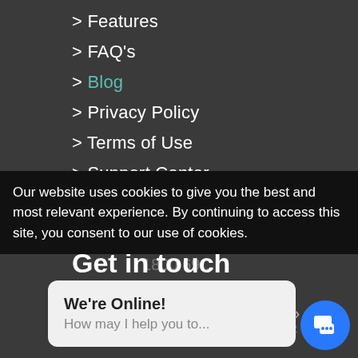> Features
> FAQ's
> Blog
> Privacy Policy
> Terms of Use
> Support Center
> Contact Us
Get in touch
Strategic Resources International777
Our website uses cookies to give you the best and most relevant experience. By continuing to access this site, you consent to our use of cookies.
1800 69...
We're Online! How may I help you to...